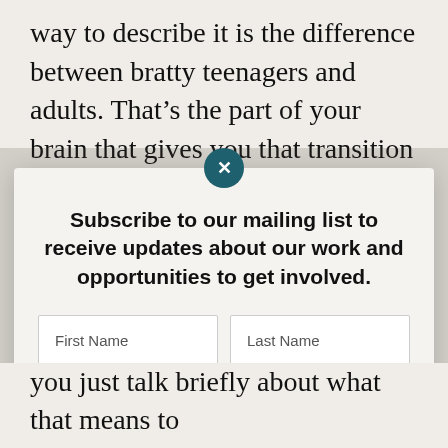way to describe it is the difference between bratty teenagers and adults. That’s the part of your brain that gives you that transition that these, these kids don’t have that so they’re just kind of like always like, “Oh, everyone’s against me.”
Subscribe to our mailing list to receive updates about our work and opportunities to get involved.
you just talk briefly about what that means to